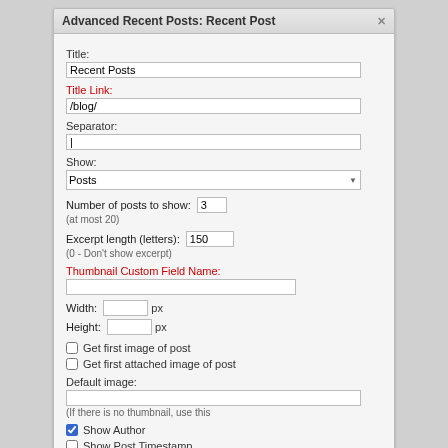Advanced Recent Posts: Recent Post
Title:
Recent Posts
Title Link:
/blog/
Separator:
|
Show:
Posts
Number of posts to show: 3
(at most 20)
Excerpt length (letters): 150
(0 - Don't show excerpt)
Thumbnail Custom Field Name:
Width:  px
Height:  px
Get first image of post
Get first attached image of post
Default image:
(If there is no thumbnail, use this
Show Author
Show Post Timestamp
Time format:
m/d/Y
(PHP style - leave as default unless you know what you're doing.)
Put time
Before Title  After Title  After